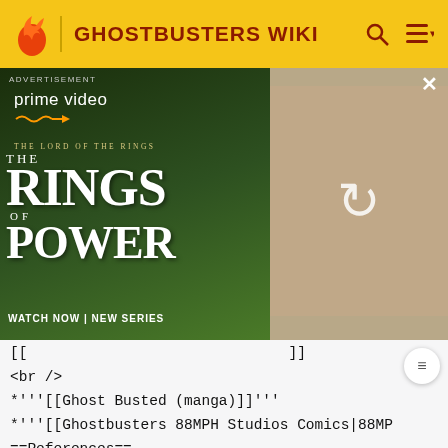GHOSTBUSTERS WIKI
[Figure (screenshot): Amazon Prime Video advertisement for 'The Rings of Power' series showing characters and a reload overlay on the right side]
[[
<br />
*'''[[Ghost Busted (manga)]]'''
*'''[[Ghostbusters 88MPH Studios Comics|88MP
==References==
<references/>
==Gallery==
===Primary Canon Images===
<gallery widths="105" position="center" cont